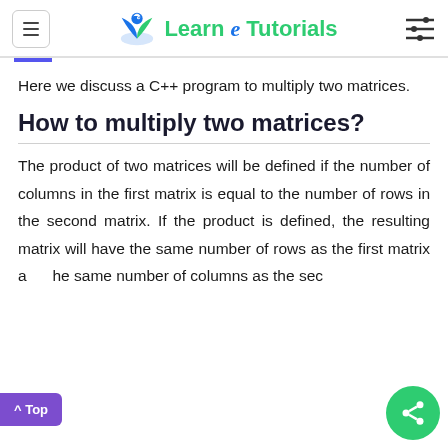Learn e Tutorials
Here we discuss a C++ program to multiply two matrices.
How to multiply two matrices?
The product of two matrices will be defined if the number of columns in the first matrix is equal to the number of rows in the second matrix. If the product is defined, the resulting matrix will have the same number of rows as the first matrix and the same number of columns as the second matrix.